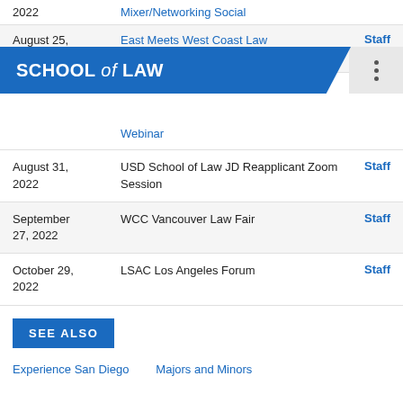| Date | Event | Audience |
| --- | --- | --- |
| 2022 | Mixer/Networking Social |  |
| August 25, 2022 | East Meets West Coast Law Webinar | Staff |
| August 31, 2022 | USD School of Law JD Reapplicant Zoom Session | Staff |
| September 27, 2022 | WCC Vancouver Law Fair | Staff |
| October 29, 2022 | LSAC Los Angeles Forum | Staff |
SCHOOL of LAW
SEE ALSO
Experience San Diego   Majors and Minors